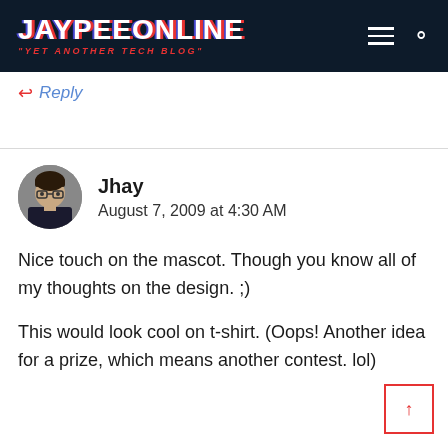JAYPEEONLINE "YET ANOTHER TECH BLOG"
↩ Reply
Jhay
August 7, 2009 at 4:30 AM
Nice touch on the mascot. Though you know all of my thoughts on the design. ;)
This would look cool on t-shirt. (Oops! Another idea for a prize, which means another contest. lol)